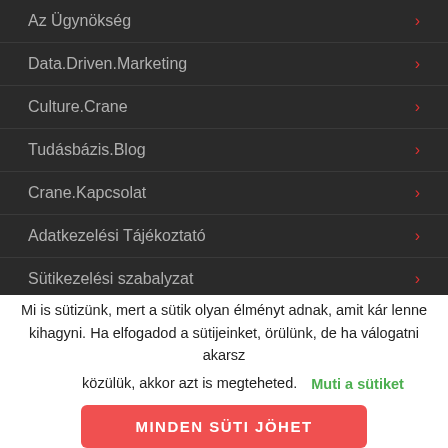Az Ügynökség
Data.Driven.Marketing
Culture.Crane
Tudásbázis.Blog
Crane.Kapcsolat
Adatkezelési Tájékoztató
Sütikezelési szabalyzat
Mi is sütizünk, mert a sütik olyan élményt adnak, amit kár lenne kihagyni. Ha elfogadod a sütijeinket, örülünk, de ha válogatni akarsz közülük, akkor azt is megteheted.
Muti a sütiket
MINDEN SÜTI JÖHET